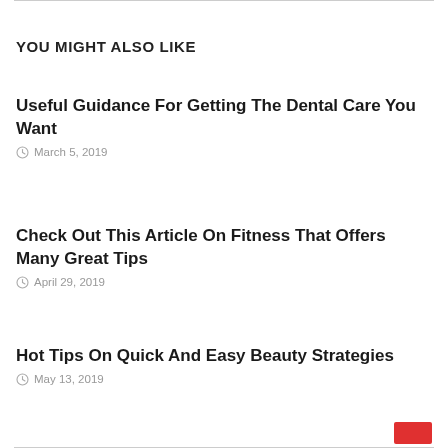YOU MIGHT ALSO LIKE
Useful Guidance For Getting The Dental Care You Want
March 5, 2019
Check Out This Article On Fitness That Offers Many Great Tips
April 29, 2019
Hot Tips On Quick And Easy Beauty Strategies
May 13, 2019